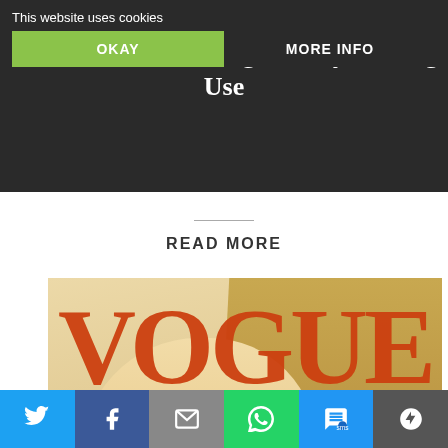David Crosby of CSNY, Byrds Fame, Sees Gold in His Long History of Drug Use
This website uses cookies
OKAY
MORE INFO
READ MORE
[Figure (photo): Vogue magazine cover featuring Ariana Grande, July issue. Large orange VOGUE masthead text. Cover lines read: ARIANA GRANDE THE YEAR THAT CHANGED EVERYTHING]
Twitter | Facebook | Email | WhatsApp | SMS | Other sharing options